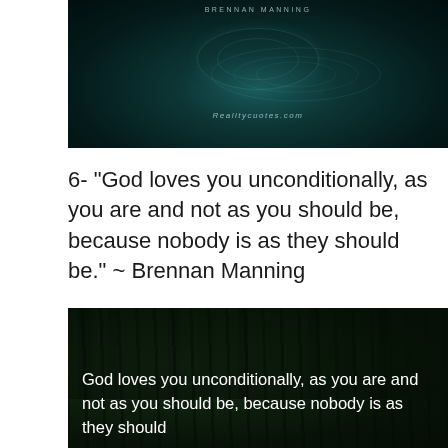[Figure (photo): Dark teal underwater or water surface image with 'BRENNAN MANNING' text at top and 'Realitycuotes.com' watermark at bottom]
6- “God loves you unconditionally, as you are and not as you should be, because nobody is as they should be.” ~ Brennan Manning
[Figure (photo): Dark forest image with white text overlay reading: 'God loves you unconditionally, as you are and not as you should be, because nobody is as they should']